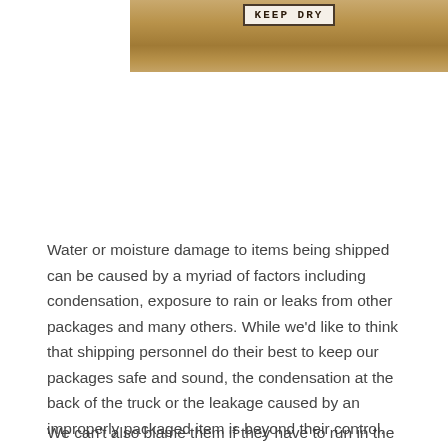[Figure (photo): A wooden surface or crate with a label/sign reading 'KEEP DRY' in bold text within a bordered box, brownish wood grain texture background]
Water or moisture damage to items being shipped can be caused by a myriad of factors including condensation, exposure to rain or leaks from other packages and many others. While we'd like to think that shipping personnel do their best to keep our packages safe and sound, the condensation at the back of the truck or the leakage caused by an improperly packaged item is beyond their control.
We can't also blame them if they have to run in the middle of